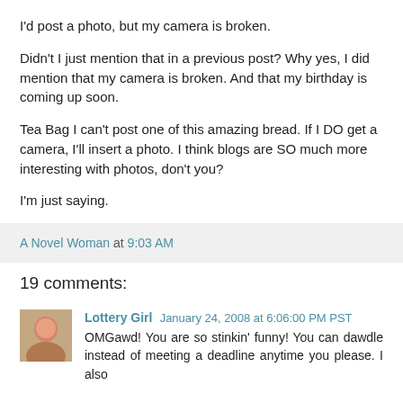I'd post a photo, but my camera is broken.
Didn't I just mention that in a previous post? Why yes, I did mention that my camera is broken. And that my birthday is coming up soon.
Tea Bag I can't post one of this amazing bread. If I DO get a camera, I'll insert a photo. I think blogs are SO much more interesting with photos, don't you?
I'm just saying.
A Novel Woman at 9:03 AM
19 comments:
Lottery Girl  January 24, 2008 at 6:06:00 PM PST
OMGawd! You are so stinkin' funny! You can dawdle instead of meeting a deadline anytime you please. I also